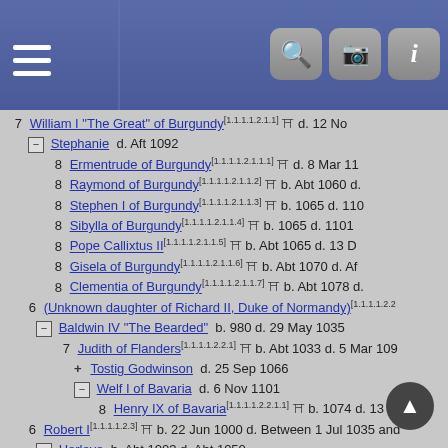Genealogy tree navigation header with menu and search/camera/info icons
7 William I "The Great" of Burgundy [1.1.1.1.2.1.1] ♣ d. 12 No
⊟ Stephanie d. Aft 1092
8 Ermentrude of Burgundy [1.1.1.1.2.1.1.1] ♣ d. 8 Mar 11
8 Raymond of Burgundy [1.1.1.1.2.1.1.2] ♣ b. Abt 1060 d.
8 Stephen I of Burgundy [1.1.1.1.2.1.1.3] ♣ b. 1065 d. 110
8 Sibylla of Burgundy [1.1.1.1.2.1.1.4] ♣ b. 1065 d. 1101
8 Pope Callixtus II [1.1.1.1.2.1.1.5] ♣ b. Abt 1065 d. 13 D
8 Gisela of Burgundy [1.1.1.1.2.1.1.6] ♣ b. Abt 1070 d. Af
8 Clementia of Burgundy [1.1.1.1.2.1.1.7] ♣ b. Abt 1078 d.
6 (Unknown daughter of Richard II, Duke of Normandy) [1.1.1.1.2.2
⊟ Baldwin IV "The Bearded" b. 980 d. 29 May 1035
7 Judith of Flanders [1.1.1.1.2.2.1] ♣ b. Abt 1033 d. 5 Mar 109
+ Tostig Godwinson d. 25 Sep 1066
⊟ Welf I of Bavaria d. 6 Nov 1101
8 Henry IX of Bavaria [1.1.1.1.2.2.1.1] ♣ b. 1074 d. 13 De
6 Robert I [1.1.1.1.2.3] ♣ b. 22 Jun 1000 d. Between 1 Jul 1035 and
⊟ Herleve b. Abt 1003 d. Abt 1050
7 William I, King of England [1.1.1.1.2.3.1] ♣ b. 1027-1028 d.
⊟ Matilda of Flanders, Queen Consort of England b. 1032
8 Alice [1.1.1.1.2.3.1.1] ♣ d. Bef 1113
8 Cecily [1.1.1.1.2.3.1.2] ♣ d. 30 Jul 1126
8 Matilda [1.1.1.1.2.3.1.3] ♣